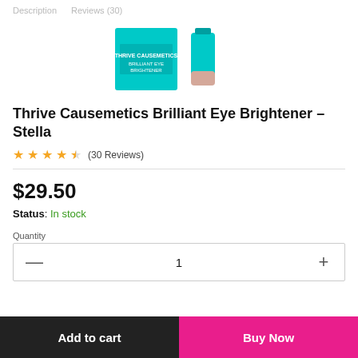Description   Reviews (30)
[Figure (photo): Product photo showing two teal/turquoise Thrive Causemetics Brilliant Eye Brightener products — a compact box and a cylindrical pencil with a pink/rose gold tip]
Thrive Causemetics Brilliant Eye Brightener – Stella
★★★★☆ (30 Reviews)
$29.50
Status: In stock
Quantity
— 1 +
Add to cart   Buy Now